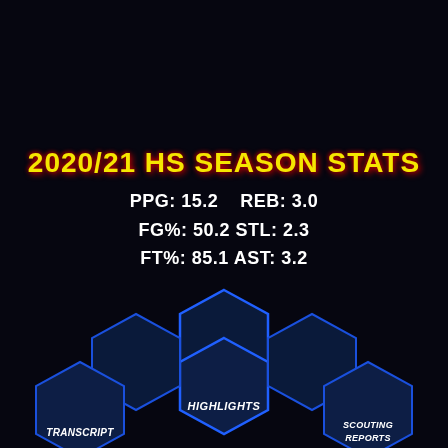2020/21 HS SEASON STATS
PPG: 15.2   REB: 3.0
FG%: 50.2 STL: 2.3
FT%: 85.1 AST: 3.2
[Figure (infographic): Bottom navigation with hexagonal buttons: TRANSCRIPT (bottom left), HIGHLIGHTS (center), SCOUTING REPORTS (bottom right), with blue glowing hexagon shapes on dark background]